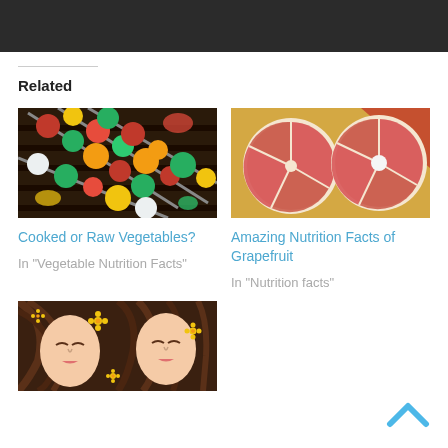Navigation bar with home, menu, search, and shuffle icons
Related
[Figure (photo): Colorful vegetable kebabs on a grill — red, green, yellow peppers, tomatoes, cucumbers]
Cooked or Raw Vegetables?
In "Vegetable Nutrition Facts"
[Figure (photo): Two halves of a grapefruit cut open showing red/pink interior]
Amazing Nutrition Facts of Grapefruit
In "Nutrition facts"
[Figure (photo): Two women lying down with long brown hair spread out, decorated with yellow flowers]